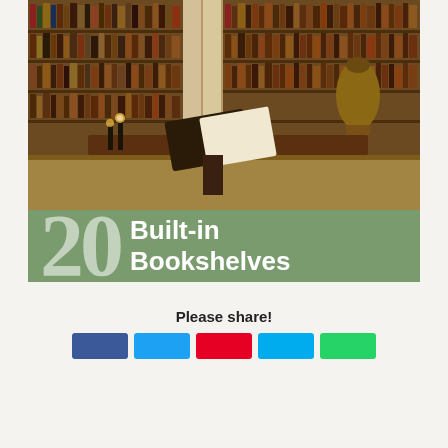[Figure (photo): Interior of an ornate classic library with floor-to-ceiling bookshelves filled with old books, decorative columns, reading desks with open books, and a decorative urn or lamp on a pedestal]
[Figure (infographic): Green banner reading '20 Built-in Bookshelves' with large semi-transparent '20' on the left and bold white text 'Built-in Bookshelves' on the right]
Please share!
[Figure (infographic): Row of social media share buttons: Facebook (blue), Twitter (light blue), Pinterest (red), another blue button, and WhatsApp (green)]